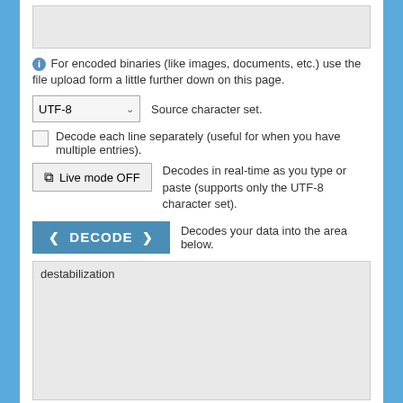[Figure (screenshot): Top textarea input box (partially visible, gray background)]
For encoded binaries (like images, documents, etc.) use the file upload form a little further down on this page.
[Figure (screenshot): UTF-8 dropdown select box for Source character set]
Source character set.
Decode each line separately (useful for when you have multiple entries).
[Figure (screenshot): Live mode OFF toggle button]
Decodes in real-time as you type or paste (supports only the UTF-8 character set).
[Figure (screenshot): DECODE button in blue]
Decodes your data into the area below.
destabilization
Decode files from URL-encoded format